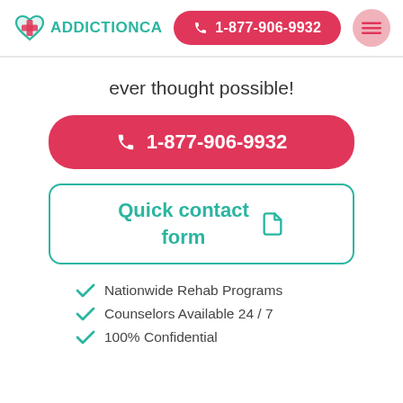ADDICTIONCA | 1-877-906-9932
ever thought possible!
1-877-906-9932
Quick contact form
Nationwide Rehab Programs
Counselors Available 24 / 7
100% Confidential